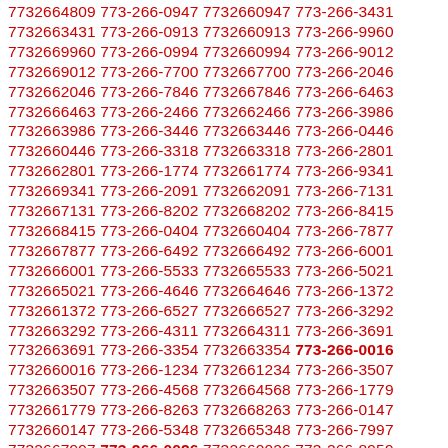7732664809 773-266-0947 7732660947 773-266-3431 7732663431 773-266-0913 7732660913 773-266-9960 7732669960 773-266-0994 7732660994 773-266-9012 7732669012 773-266-7700 7732667700 773-266-2046 7732662046 773-266-7846 7732667846 773-266-6463 7732666463 773-266-2466 7732662466 773-266-3986 7732663986 773-266-3446 7732663446 773-266-0446 7732660446 773-266-3318 7732663318 773-266-2801 7732662801 773-266-1774 7732661774 773-266-9341 7732669341 773-266-2091 7732662091 773-266-7131 7732667131 773-266-8202 7732668202 773-266-8415 7732668415 773-266-0404 7732660404 773-266-7877 7732667877 773-266-6492 7732666492 773-266-6001 7732666001 773-266-5533 7732665533 773-266-5021 7732665021 773-266-4646 7732664646 773-266-1372 7732661372 773-266-6527 7732666527 773-266-3292 7732663292 773-266-4311 7732664311 773-266-3691 7732663691 773-266-3354 7732663354 773-266-0016 7732660016 773-266-1234 7732661234 773-266-3507 7732663507 773-266-4568 7732664568 773-266-1779 7732661779 773-266-8263 7732668263 773-266-0147 7732660147 773-266-5348 7732665348 773-266-7997 7732667997 773-266-0026 7732660026 773-266-8959 7732668959 773-266-6763 7732666763 773-266-6570 7732666570 773-266-0351 7732660351 773-266-4056 7732664056 773-266-0373 7732660373 773-266-3858